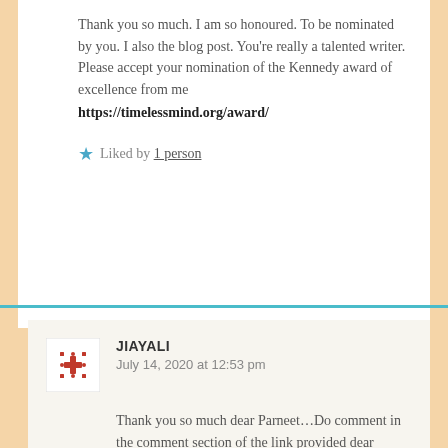Thank you so much. I am so honoured. To be nominated by you. I also the blog post. You're really a talented writer.
Please accept your nomination of the Kennedy award of excellence from me
https://timelessmind.org/award/
★ Liked by 1 person
[Figure (illustration): Avatar icon made of red/orange cross-like pattern on white background]
JIAYALI
July 14, 2020 at 12:53 pm
Thank you so much dear Parneet…Do comment in the comment section of the link provided dear Parneet…Your words sharing would be much wortheir for me…Hope you're doing good,you weren't around since two three days